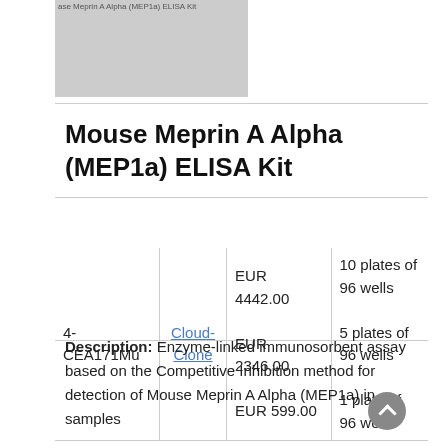[Figure (photo): Product image thumbnail for Mouse Meprin A Alpha (MEP1a) ELISA Kit with label text overlay]
Mouse Meprin A Alpha (MEP1a) ELISA Kit
|  |  | Price | Size |
| --- | --- | --- | --- |
| 4-CEA171Mu | Cloud-Clone | EUR 4442.00
EUR 2346.00
EUR 599.00 | 10 plates of 96 wells
5 plates of 96 wells
1 plate of 96 wells |
Description: Enzyme-linked immunosorbent assay based on the Competitive Inhibition method for detection of Mouse Meprin A Alpha (MEP1a) in samples